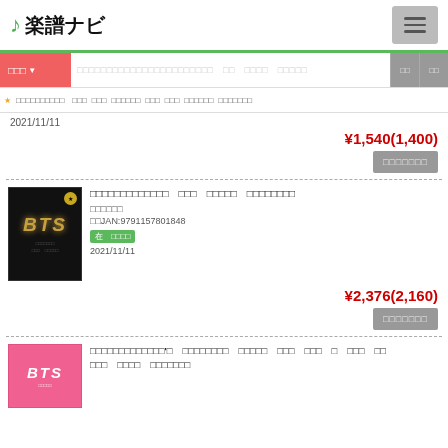楽譜ナビ
2021/11/11
¥1,540(1,400)
ショッピングカート
[Figure (photo): BTS music score book cover, black background with golden BTS lettering]
□□□□□□□□□□□□□　□□□　□□□□□　□□□□□□□□
□□□□□□
□□JAN:9791157801848
在　□□□□
2021/11/11
¥2,376(2,160)
ショッピングカート
[Figure (photo): BTS music score book cover, pink background]
□□□□□□□□□□□□□'□　□□□□□□□□　□□□□□　□□□　□□□　□　□□□　□□
□□□　□□□□　□□□□□□□